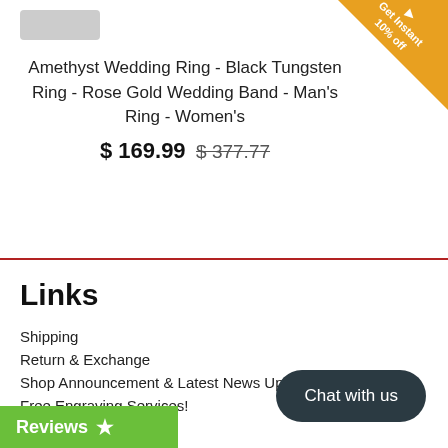[Figure (other): Partial product image visible at top left (cropped ring image)]
Amethyst Wedding Ring - Black Tungsten Ring - Rose Gold Wedding Band - Man's Ring - Women's
$ 169.99  $ 377.77 (strikethrough)
[Figure (other): Orange corner banner reading 'Get Instant 10% off']
Links
Shipping
Return & Exchange
Shop Announcement & Latest News Update
Free Engraving Services!
ce
[Figure (other): Dark rounded button labeled 'Chat with us']
Reviews ★